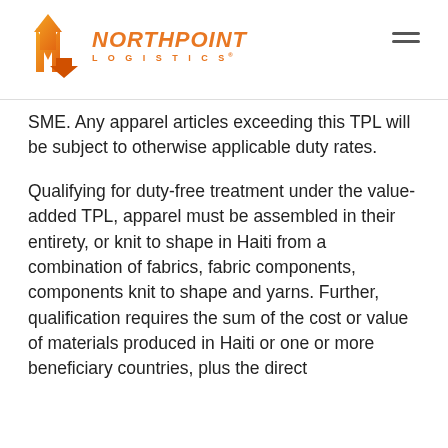Northpoint Logistics
SME. Any apparel articles exceeding this TPL will be subject to otherwise applicable duty rates.
Qualifying for duty-free treatment under the value-added TPL, apparel must be assembled in their entirety, or knit to shape in Haiti from a combination of fabrics, fabric components, components knit to shape and yarns. Further, qualification requires the sum of the cost or value of materials produced in Haiti or one or more beneficiary countries, plus the direct